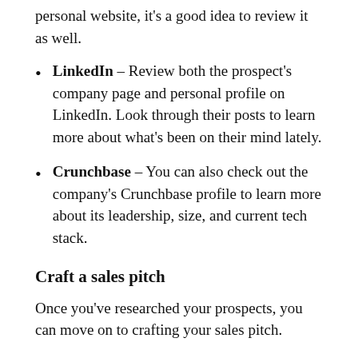personal website, it's a good idea to review it as well.
LinkedIn – Review both the prospect's company page and personal profile on LinkedIn. Look through their posts to learn more about what's been on their mind lately.
Crunchbase – You can also check out the company's Crunchbase profile to learn more about its leadership, size, and current tech stack.
Craft a sales pitch
Once you've researched your prospects, you can move on to crafting your sales pitch.